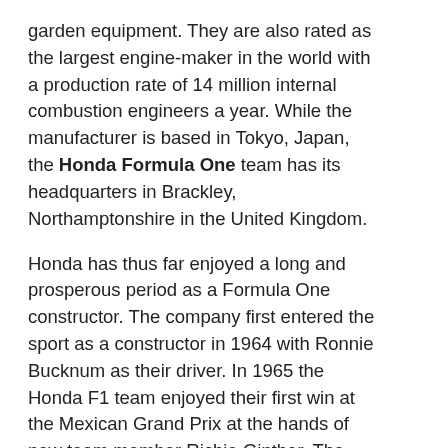garden equipment. They are also rated as the largest engine-maker in the world with a production rate of 14 million internal combustion engineers a year. While the manufacturer is based in Tokyo, Japan, the Honda Formula One team has its headquarters in Brackley, Northamptonshire in the United Kingdom.
Honda has thus far enjoyed a long and prosperous period as a Formula One constructor. The company first entered the sport as a constructor in 1964 with Ronnie Bucknum as their driver. In 1965 the Honda F1 team enjoyed their first win at the Mexican Grand Prix at the hands of new team member Richie Ginther. The following year they won the Italian Grand Prix and dominated the French Formula Two championships only to suffer a year of loss in 1968. The death of a teammate coupled with bad sales in the United States resulted in Honda withdrawing from the sport for a while. In the early 1980s they returned to F2 in which they once again enjoyed much success. In 1983 the decision was made to return to Formula One Racing and in 1984 Honda partnered with the Williams team. The